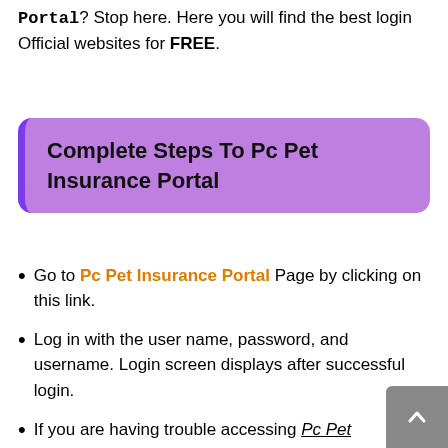Portal? Stop here. Here you will find the best login Official websites for FREE.
Complete Steps To Pc Pet Insurance Portal
Go to Pc Pet Insurance Portal Page by clicking on this link.
Log in with the user name, password, and username. Login screen displays after successful login.
If you are having trouble accessing Pc Pet Insurance Portal, test the Troubleshooting options here